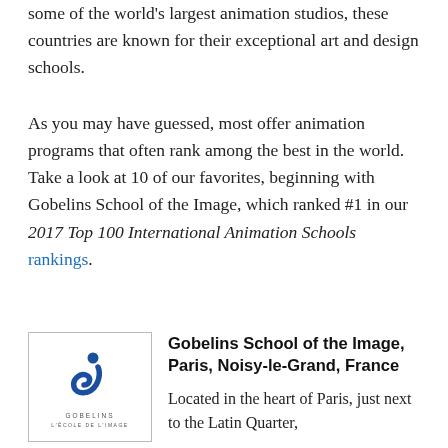Some of the world's largest animation studios, these countries are known for their exceptional art and design schools.
As you may have guessed, most offer animation programs that often rank among the best in the world. Take a look at 10 of our favorites, beginning with Gobelins School of the Image, which ranked #1 in our 2017 Top 100 International Animation Schools rankings.
[Figure (logo): Gobelins L'École de l'Image logo — blue stylized letter G shape with a dot]
Gobelins School of the Image, Paris, Noisy-le-Grand, France
Located in the heart of Paris, just next to the Latin Quarter,